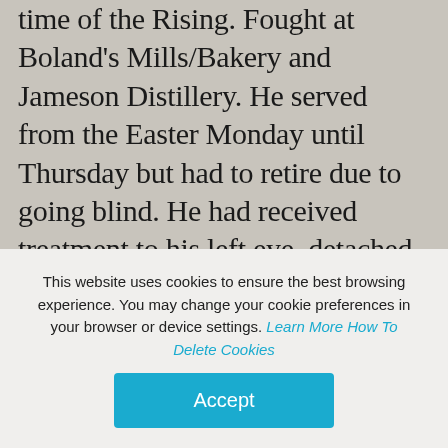time of the Rising. Fought at Boland's Mills/Bakery and Jameson Distillery. He served from the Easter Monday until Thursday but had to retire due to going blind. He had received treatment to his left eye, detached retina causing loss of sight in his left eye, prior to Easter Week and during the Rising his right eye also failed. He did not take part in the War of Independence or
This website uses cookies to ensure the best browsing experience. You may change your cookie preferences in your browser or device settings. Learn More How To Delete Cookies